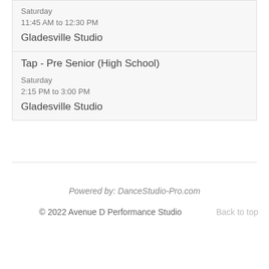| Saturday | 11:45 AM to 12:30 PM | Gladesville Studio |
| Tap - Pre Senior (High School) | Saturday | 2:15 PM to 3:00 PM | Gladesville Studio |
Powered by: DanceStudio-Pro.com
© 2022 Avenue D Performance Studio
Back to top